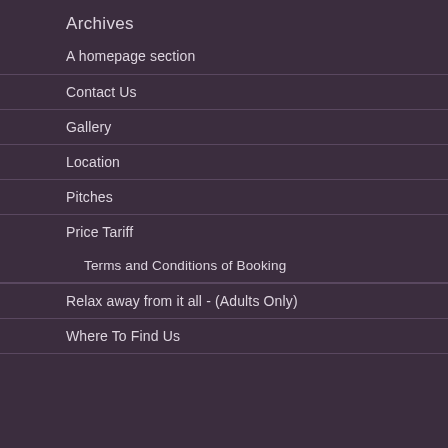Archives
A homepage section
Contact Us
Gallery
Location
Pitches
Price Tariff
Terms and Conditions of Booking
Relax away from it all -  (Adults Only)
Where To Find Us